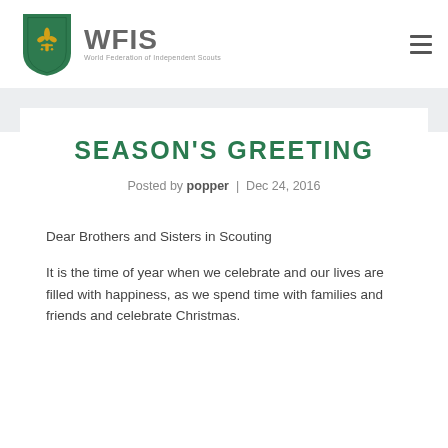[Figure (logo): WFIS - World Federation of Independent Scouts logo with fleur-de-lis emblem in green and gold, text in gray]
SEASON'S GREETING
Posted by popper | Dec 24, 2016
Dear Brothers and Sisters in Scouting
It is the time of year when we celebrate and our lives are filled with happiness, as we spend time with families and friends and celebrate Christmas.